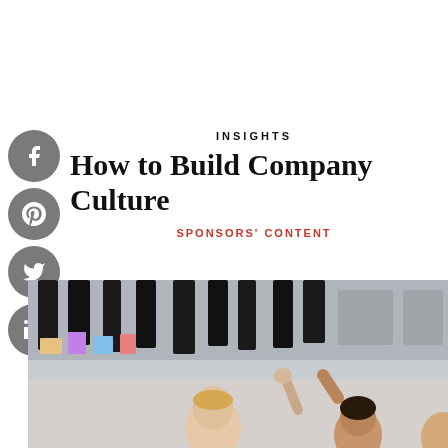[Figure (other): Four circular social media share buttons (Facebook, Pinterest, Twitter, LinkedIn) arranged vertically on the left side]
INSIGHTS
How to Build Company Culture
SPONSORS' CONTENT
[Figure (photo): Group of people in a bright room with dark clothing hanging behind them, raising hands or gesturing enthusiastically]